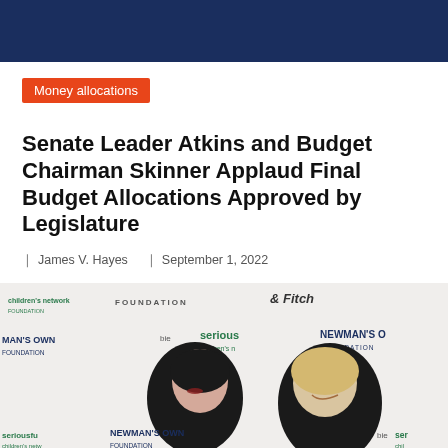[Figure (photo): Dark navy blue header banner bar at top of page]
Money allocations
Senate Leader Atkins and Budget Chairman Skinner Applaud Final Budget Allocations Approved by Legislature
James V. Hayes   September 1, 2022
[Figure (photo): Two women posing in front of a step-and-repeat backdrop with logos including Newman's Own Foundation, Serious Fun children's network, and other sponsors. Left woman wears black turtleneck and head covering; right woman is blonde and smiling.]